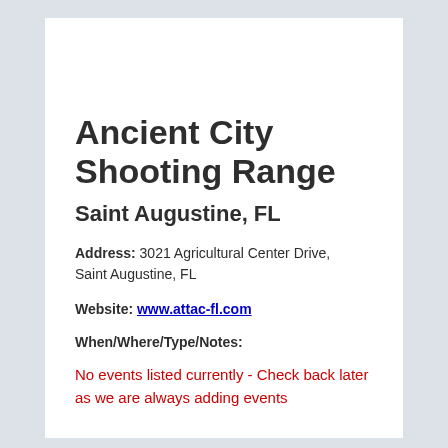Ancient City Shooting Range
Saint Augustine, FL
Address: 3021 Agricultural Center Drive, Saint Augustine, FL
Website: www.attac-fl.com
When/Where/Type/Notes:
No events listed currently - Check back later as we are always adding events